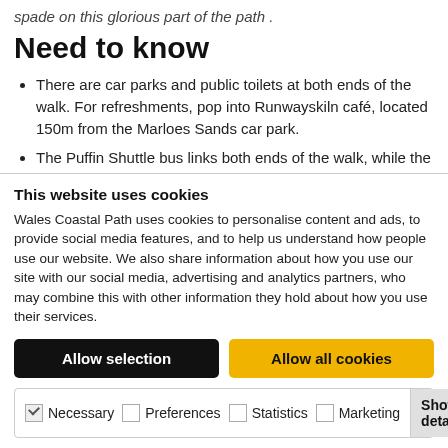spade on this glorious part of the path .
Need to know
There are car parks and public toilets at both ends of the walk. For refreshments, pop into Runwayskiln café, located 150m from the Marloes Sands car park.
The Puffin Shuttle bus links both ends of the walk, while the 315 service connects Marloes with Milford Haven and
This website uses cookies
Wales Coastal Path uses cookies to personalise content and ads, to provide social media features, and to help us understand how people use our website. We also share information about how you use our site with our social media, advertising and analytics partners, who may combine this with other information they hold about how you use their services.
Allow selection | Allow all cookies
Necessary | Preferences | Statistics | Marketing | Show details